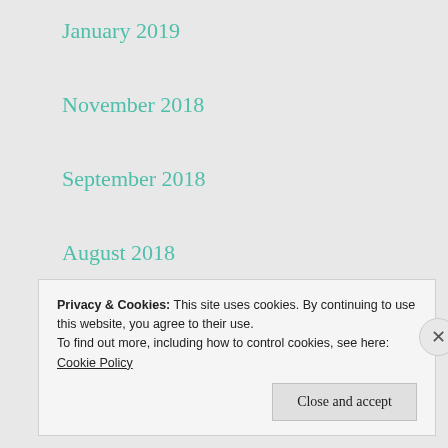January 2019
November 2018
September 2018
August 2018
June 2018
April 2018
Privacy & Cookies: This site uses cookies. By continuing to use this website, you agree to their use.
To find out more, including how to control cookies, see here: Cookie Policy
Close and accept